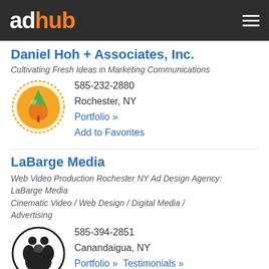adhub
Daniel Hoh + Associates, Inc.
Cultivating Fresh Ideas in Marketing Communications
585-232-2880
Rochester, NY
Portfolio »
Add to Favorites
LaBarge Media
Web Video Production Rochester NY Ad Design Agency: LaBarge Media
Cinematic Video / Web Design / Digital Media / Advertising
585-394-2851
Canandaigua, NY
Portfolio » Testimonials »